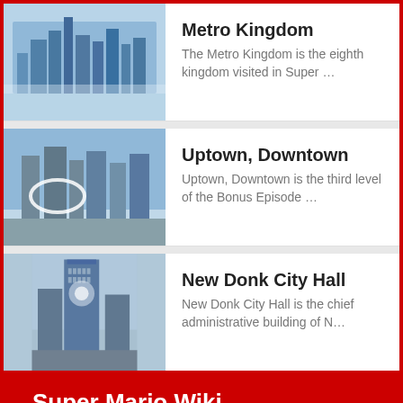Metro Kingdom — The Metro Kingdom is the eighth kingdom visited in Super …
Uptown, Downtown — Uptown, Downtown is the third level of the Bonus Episode …
New Donk City Hall — New Donk City Hall is the chief administrative building of N…
Super Mario Wiki
Content is available under Attribution-ShareAlike 3.0 Unported unless otherwise noted.
Privacy policy • Desktop